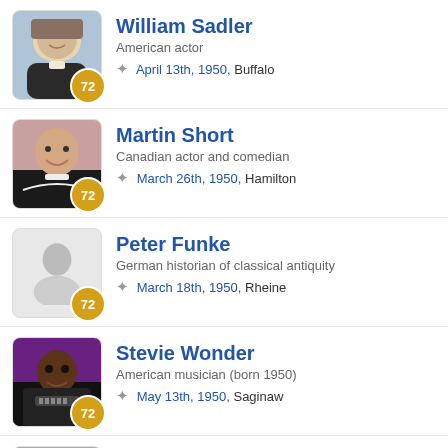William Sadler
American actor
* April 13th, 1950, Buffalo
Martin Short
Canadian actor and comedian
* March 26th, 1950, Hamilton
Peter Funke
German historian of classical antiquity
* March 18th, 1950, Rheine
Stevie Wonder
American musician (born 1950)
* May 13th, 1950, Saginaw